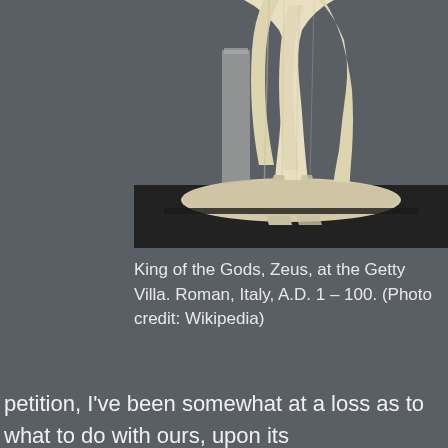[Figure (photo): A marble statue of Zeus (King of the Gods) displayed at the Getty Villa. The statue shows draped robes and stands on a circular base placed on a black platform, against a gray background. Only the lower portion of the statue is visible.]
King of the Gods, Zeus, at the Getty Villa. Roman, Italy, A.D. 1 – 100. (Photo credit: Wikipedia)
petition, I've been somewhat at a loss as to what to do with ours, upon its